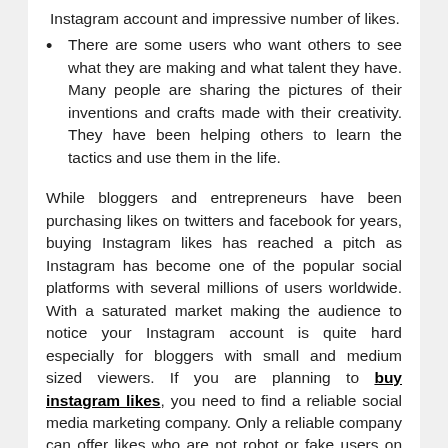Instagram account and impressive number of likes.
There are some users who want others to see what they are making and what talent they have. Many people are sharing the pictures of their inventions and crafts made with their creativity. They have been helping others to learn the tactics and use them in the life.
While bloggers and entrepreneurs have been purchasing likes on twitters and facebook for years, buying Instagram likes has reached a pitch as Instagram has become one of the popular social platforms with several millions of users worldwide. With a saturated market making the audience to notice your Instagram account is quite hard especially for bloggers with small and medium sized viewers. If you are planning to buy instagram likes, you need to find a reliable social media marketing company. Only a reliable company can offer likes who are not robot or fake users on Instagram. It is more important to get